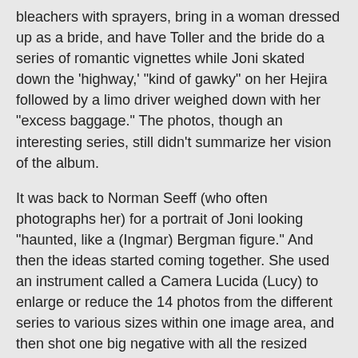bleachers with sprayers, bring in a woman dressed up as a bride, and have Toller and the bride do a series of romantic vignettes while Joni skated down the 'highway,' "kind of gawky" on her Hejira followed by a limo driver weighed down with her "excess baggage." The photos, though an interesting series, still didn't summarize her vision of the album.
It was back to Norman Seeff (who often photographs her) for a portrait of Joni looking "haunted, like a (Ingmar) Bergman figure." And then the ideas started coming together. She used an instrument called a Camera Lucida (Lucy) to enlarge or reduce the 14 photos from the different series to various sizes within one image area, and then shot one big negative with all the resized photos in place. An airbrusher corrected all the light sources and smoothes over the edges.
"If I had done the cover as a collage, it would've looked much more primitive," she says, "this way it's so polished, as if it's exactly one photograph."